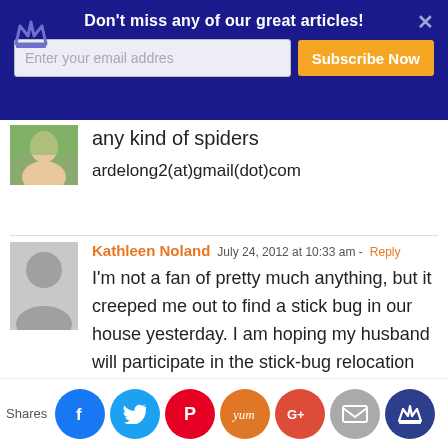[Figure (screenshot): Newsletter subscription banner with dark blue background, crown icon, X close button, bold white text 'Don't miss any of our great articles!', email input field, and orange 'Subscribe Now' button]
any kind of spiders
ardelong2(at)gmail(dot)com
Kathleen Noland  July 24, 2012 at 10:33 am - Reply
I'm not a fan of pretty much anything, but it creeped me out to find a stick bug in our house yesterday. I am hoping my husband will participate in the stick-bug relocation program before I get home today.
[Figure (infographic): Social share bar with Facebook, Twitter, Pinterest, Yummly, Google+, Email, and crown share icons]